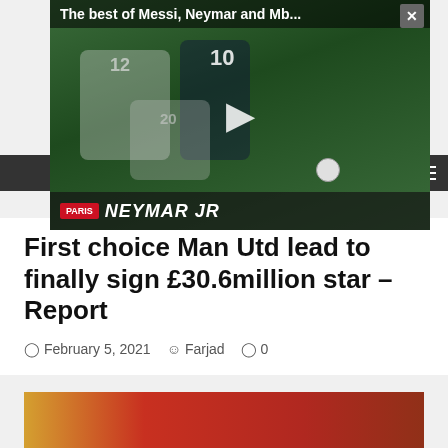[Figure (screenshot): Video popup overlay showing a soccer/football match clip titled 'The best of Messi, Neymar and Mb...' with PARIS NEYMAR JR branding at bottom and a play button in center]
First choice Man Utd lead to finally sign £30.6million star – Report
February 5, 2021  Farjad  0
[Figure (photo): Partial bottom image showing a sports-related photograph with red and yellow tones]